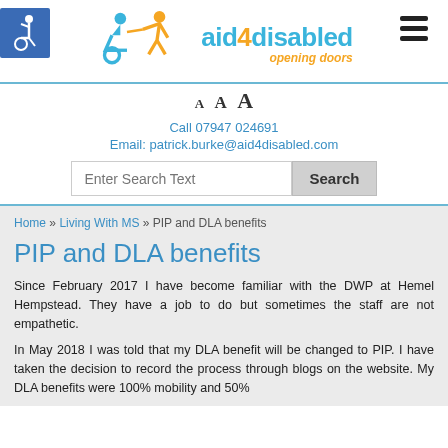[Figure (logo): aid4disabled logo with wheelchair user icon and walking figure, text 'aid4disabled opening doors']
A A A
Call 07947 024691
Email: patrick.burke@aid4disabled.com
Enter Search Text  Search
Home » Living With MS » PIP and DLA benefits
PIP and DLA benefits
Since February 2017 I have become familiar with the DWP at Hemel Hempstead. They have a job to do but sometimes the staff are not empathetic.
In May 2018 I was told that my DLA benefit will be changed to PIP. I have taken the decision to record the process through blogs on the website. My DLA benefits were 100% mobility and 50% care component. The PIP assessment is different...